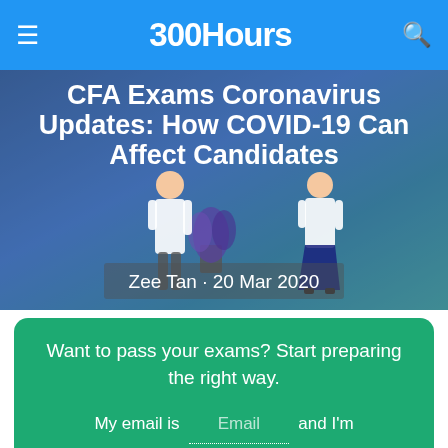300Hours
[Figure (illustration): Hero banner with blue-teal gradient background showing two illustrated figures in lab coats and a plant, overlaid with article title and byline]
CFA Exams Coronavirus Updates: How COVID-19 Can Affect Candidates
Zee Tan · 20 Mar 2020
Want to pass your exams? Start preparing the right way. My email is Email and I'm preparing for CFA Level 1
Get The Free Guides